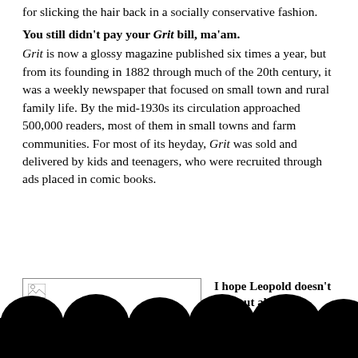for slicking the hair back in a socially conservative fashion.
You still didn't pay your Grit bill, ma'am.
Grit is now a glossy magazine published six times a year, but from its founding in 1882 through much of the 20th century, it was a weekly newspaper that focused on small town and rural family life. By the mid-1930s its circulation approached 500,000 readers, most of them in small towns and farm communities. For most of its heyday, Grit was sold and delivered by kids and teenagers, who were recruited through ads placed in comic books.
[Figure (photo): A placeholder image with broken image icon]
I hope Leopold doesn't find out about this.
Nathan Leopold and Richard Loeb were a pair of wealthy, intelligent young...